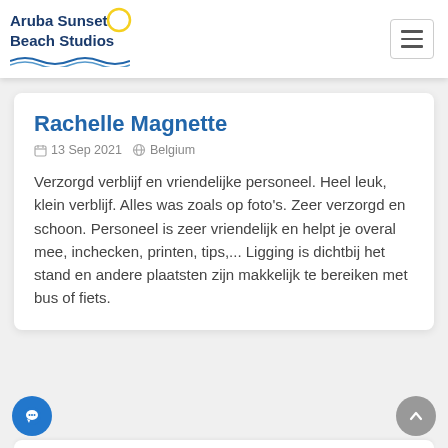Aruba Sunset Beach Studios
want to mingle with the other guests it's possible ...ng for near no problem... nd pleasant. This is my ...uba (been here 10 times).
Rachelle Magnette
13 Sep 2021   Belgium
Verzorgd verblijf en vriendelijke personeel. Heel leuk, klein verblijf. Alles was zoals op foto's. Zeer verzorgd en schoon. Personeel is zeer vriendelijk en helpt je overal mee, inchecken, printen, tips,... Ligging is dichtbij het stand en andere plaatsten zijn makkelijk te bereiken met bus of fiets.